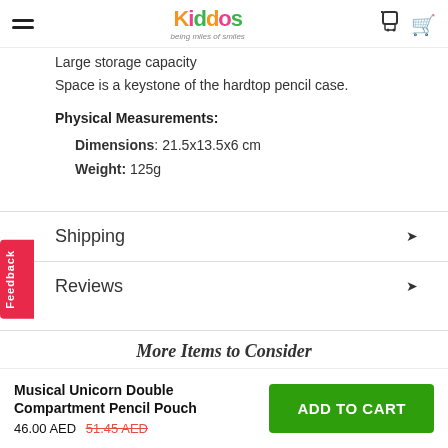Kiddos - Being miles of smiles
Large storage capacity
Space is a keystone of the hardtop pencil case.
Physical Measurements:
Dimensions: 21.5x13.5x6 cm
Weight: 125g
Shipping
Reviews
More Items to Consider
Musical Unicorn Double Compartment Pencil Pouch
46.00 AED  51.45 AED
ADD TO CART